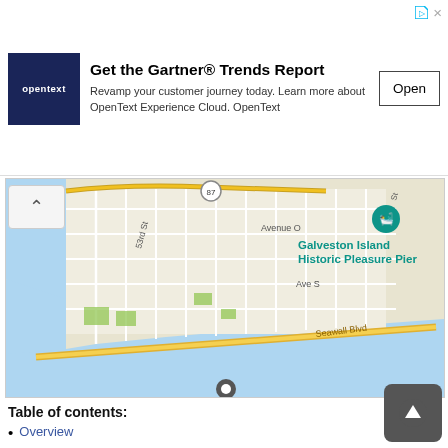[Figure (screenshot): OpenText advertisement banner: logo on left, 'Get the Gartner® Trends Report' headline, body text 'Revamp your customer journey today. Learn more about OpenText Experience Cloud. OpenText', and an 'Open' button on the right.]
[Figure (map): Street map of Galveston, TX showing streets including 53rd St, Avenue O, Ave S, Seawall Blvd, highway 87, and a marker for Galveston Island Historic Pleasure Pier. Water (blue) is visible along the bottom and left side.]
Table of contents:
Overview
Detailed Reports
Checklist
Statements Regarding Other IRS Filings and Tax Compliance
Compensation of Officers, Directors, Trustees, Key Employees, Highest Compensated Employees, and Independent Contractors
Statement of Revenue